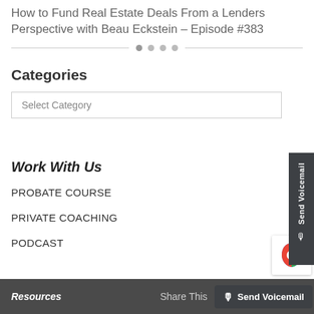How to Fund Real Estate Deals From a Lenders Perspective with Beau Eckstein – Episode #383
Categories
Select Category
Work With Us
PROBATE COURSE
PRIVATE COACHING
PODCAST
Resources   Share This   Send Voicemail